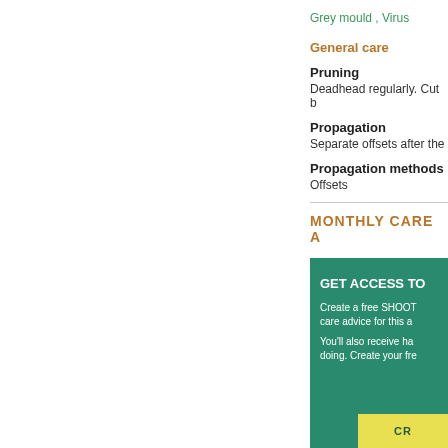Grey mould , Virus
General care
Pruning
Deadhead regularly. Cut b
Propagation
Separate offsets after the
Propagation methods
Offsets
MONTHLY CARE A
GET ACCESS TO
Create a free SHOOT care advice for this a
You'll also receive ha doing. Create your fre
CR